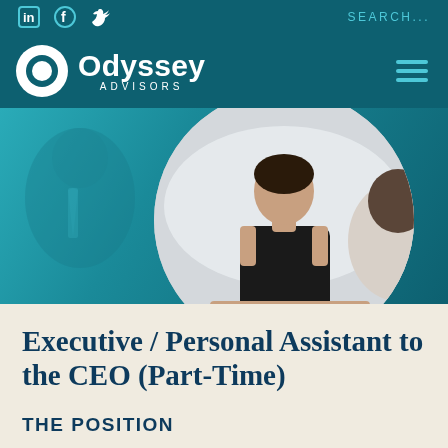in  f  Twitter  SEARCH...
[Figure (logo): Odyssey Advisors logo with circular icon and text]
[Figure (photo): Professional business meeting scene: woman in black dress seated at table with man across from her, teal-tinted background]
Executive / Personal Assistant to the CEO (Part-Time)
THE POSITION